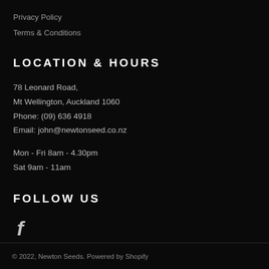Privacy Policy
Terms & Conditions
LOCATION & HOURS
78 Leonard Road,
Mt Wellington, Auckland 1060
Phone: (09) 636 4918
Email: john@newtonseed.co.nz
Mon - Fri 8am - 4.30pm
Sat 9am - 11am
FOLLOW US
[Figure (other): Facebook icon (f logo)]
© 2022, Newton Seeds. Powered by Shopify